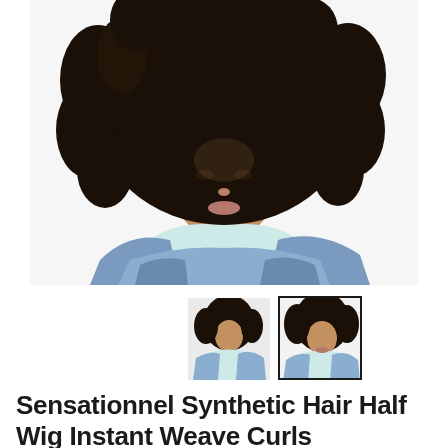[Figure (photo): Woman with voluminous curly black hair wearing a light blue tank top and a denim jacket draped over her arms, photographed against a white background. Product photo for a synthetic half wig.]
[Figure (photo): Thumbnail 1: Same model with curly hair and denim jacket, slightly angled view.]
[Figure (photo): Thumbnail 2 (selected/active, shown with border): Same model with curly hair and light blue top, closer crop.]
Sensationnel Synthetic Hair Half Wig Instant Weave Curls